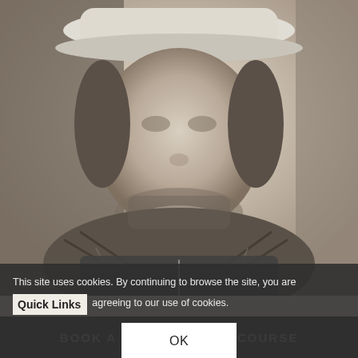[Figure (photo): Black and white portrait photo of a heavyset man wearing a white cowboy hat, a patterned keffiyeh/scarf around his neck, and a sleeveless leather vest with zipper. The image is cropped from shoulders up.]
This site uses cookies. By continuing to browse the site, you are agreeing to our use of cookies.
Quick Links
OK
BOOK A PHOTOGRAPHY COURSE